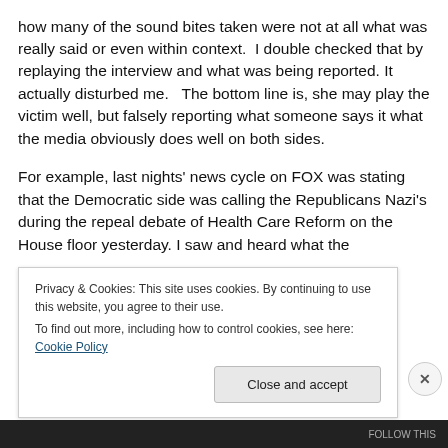how many of the sound bites taken were not at all what was really said or even within context.  I double checked that by replaying the interview and what was being reported. It actually disturbed me.   The bottom line is, she may play the victim well, but falsely reporting what someone says it what the media obviously does well on both sides.
For example, last nights' news cycle on FOX was stating that the Democratic side was calling the Republicans Nazi's during the repeal debate of Health Care Reform on the House floor yesterday. I saw and heard what the
Privacy & Cookies: This site uses cookies. By continuing to use this website, you agree to their use.
To find out more, including how to control cookies, see here: Cookie Policy